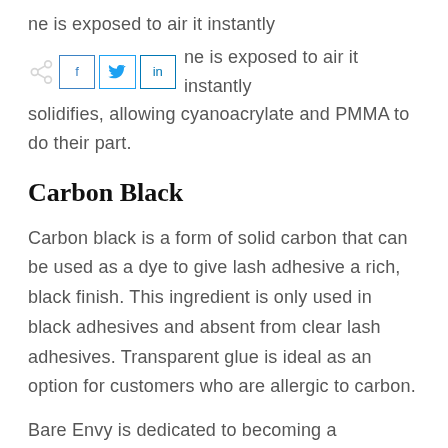one is exposed to air it instantly solidifies, allowing cyanoacrylate and PMMA to do their part.
Carbon Black
Carbon black is a form of solid carbon that can be used as a dye to give lash adhesive a rich, black finish. This ingredient is only used in black adhesives and absent from clear lash adhesives. Transparent glue is ideal as an option for customers who are allergic to carbon.
Bare Envy is dedicated to becoming a trustworthy expert for all of our clients who are